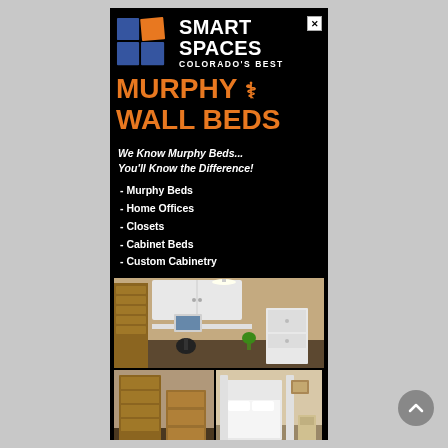[Figure (logo): Smart Spaces Colorado's Best logo with 2x2 grid of squares (orange top-right, blue others) and white text SMART SPACES / COLORADO'S BEST]
MURPHY & WALL BEDS
We Know Murphy Beds... You'll Know the Difference!
- Murphy Beds
- Home Offices
- Closets
- Cabinet Beds
- Custom Cabinetry
[Figure (photo): Interior room showing Murphy bed/home office setup with white cabinets, desk, and chair]
[Figure (photo): Two smaller interior photos: left shows wooden bookcase/cabinet, right shows bedroom with white Murphy bed deployed]